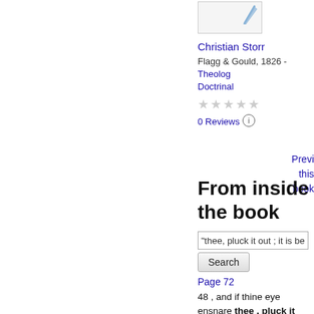[Figure (illustration): Book thumbnail with a pencil/arrow icon]
Christian Storr
Flagg & Gould, 1826 - Theological, Doctrinal
★★★★★
0 Reviews ⓘ
Preview this book
From inside the book
"thee, pluck it out ; it is bett
Search
Page 72
48 , and if thine eye ensnare thee , pluck it out ; it is better for thee to enter into the